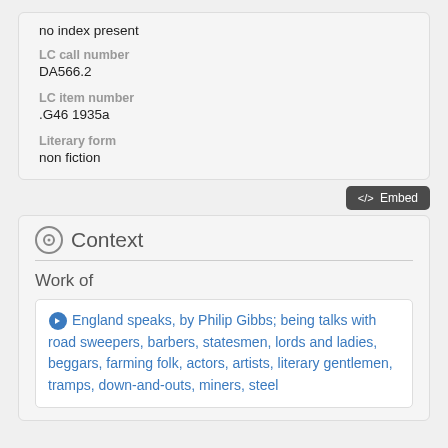no index present
LC call number
DA566.2
LC item number
.G46 1935a
Literary form
non fiction
</> Embed
Context
Work of
England speaks, by Philip Gibbs; being talks with road sweepers, barbers, statesmen, lords and ladies, beggars, farming folk, actors, artists, literary gentlemen, tramps, down-and-outs, miners, steel